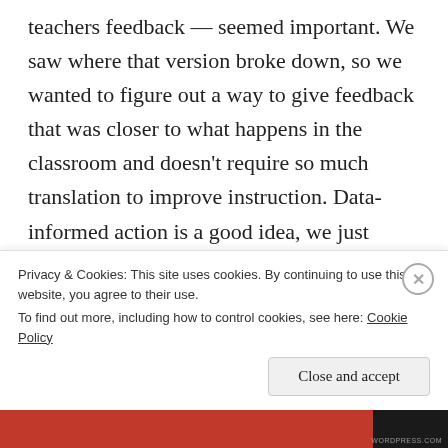teachers feedback — seemed important. We saw where that version broke down, so we wanted to figure out a way to give feedback that was closer to what happens in the classroom and doesn't require so much translation to improve instruction. Data-informed action is a good idea, we just wanted to think about better kinds of data. We plan to use a dual video coaching system — yet to be developed — to help teachers make sharper interpretations of what is happening in the classroom.
Privacy & Cookies: This site uses cookies. By continuing to use this website, you agree to their use. To find out more, including how to control cookies, see here: Cookie Policy
Close and accept